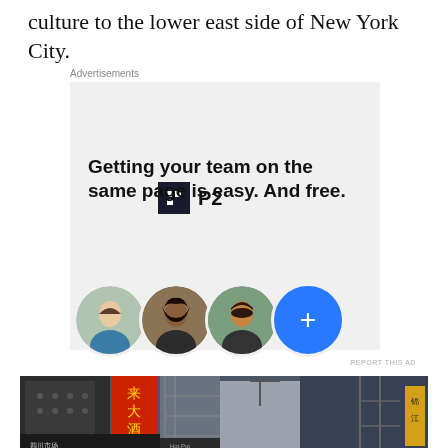culture to the lower east side of New York City.
Advertisements
[Figure (infographic): P2 advertisement banner with logo, headline 'Getting your team on the same page is easy. And free.' and three user avatar photos plus a blue circle with plus sign]
REPORT THIS AD
[Figure (photo): Street-level photo of Chinatown in New York City showing Chinese signage, fire escapes, and urban buildings]